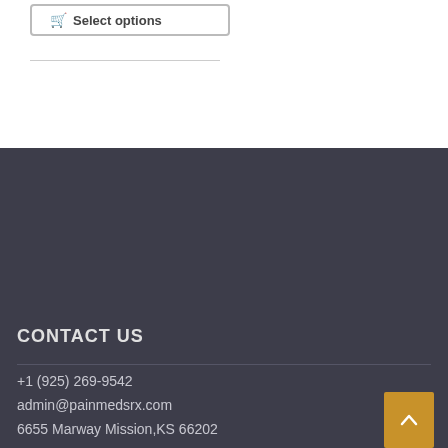Select options
CONTACT US
+1 (925) 269-9542
admin@painmedsrx.com
6655 Marway Mission,KS 66202
IMPORTANT LINKS
ABOUT US
Account
Blog